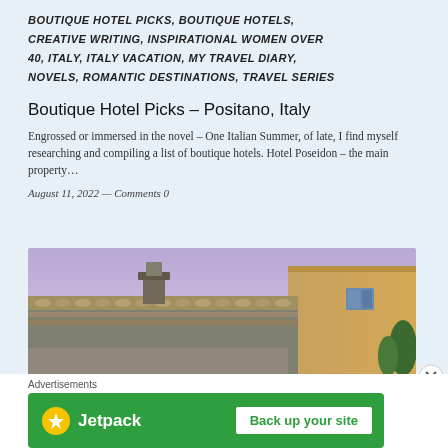BOUTIQUE HOTEL PICKS, BOUTIQUE HOTELS, CREATIVE WRITING, INSPIRATIONAL WOMEN OVER 40, ITALY, ITALY VACATION, MY TRAVEL DIARY, NOVELS, ROMANTIC DESTINATIONS, TRAVEL SERIES
Boutique Hotel Picks – Positano, Italy
Engrossed or immersed in the novel – One Italian Summer, of late, I find myself researching and compiling a list of boutique hotels. Hotel Poseidon – the main property…
August 11, 2022 — Comments 0
[Figure (photo): Italian rooftop building with terracotta roof tiles, a small chimney structure, and a warm-toned stucco building with a window under a purple-blue sky]
Advertisements
[Figure (other): Jetpack advertisement banner with green background showing Jetpack logo and 'Back up your site' button]